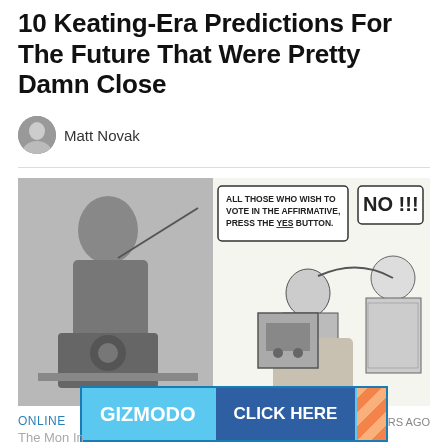10 Keating-Era Predictions For The Future That Were Pretty Damn Close
Matt Novak
[Figure (photo): Left: black and white photograph of a man in a suit sitting next to an early radio or electronic device. Right: a comic/cartoon illustration showing a man trying to press a 'YES' button on a voting device while a woman grabs his hair, with a speech bubble saying 'ALL THOSE WHO WISH TO VOTE IN THE AFFIRMATIVE, PRESS THE YES BUTTON.' and another bubble saying 'NO!!!']
ONLINE
8 YEARS AGO
[Figure (other): Advertisement banner: GIZMODO | diagonal orange stripe pattern | CLICK HERE button]
The M... on In
The 1...